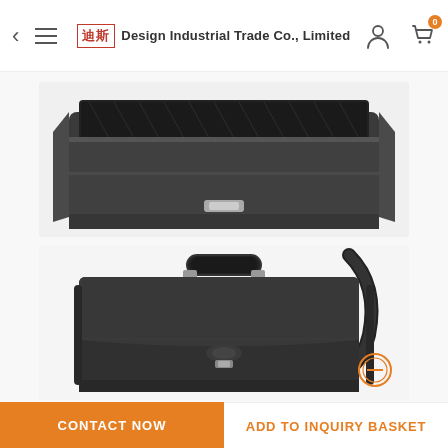Design Industrial Trade Co., Limited
[Figure (photo): Top view of an open black leather briefcase showing interior compartments and lining]
[Figure (photo): Front view of a closed black leather briefcase with handle and shoulder strap, with a zoom icon overlay]
CONTACT NOW
ADD TO INQUIRY BASKET